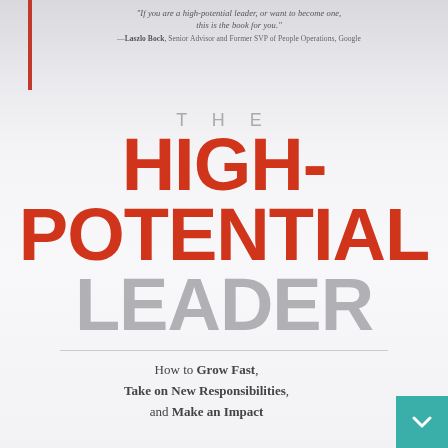"If you are a high-potential leader, or want to become one, this is the book for you." —Laszlo Bock, Senior Advisor and Former SVP of People Operations, Google
THE HIGH-POTENTIAL LEADER
How to Grow Fast, Take on New Responsibilities, and Make an Impact